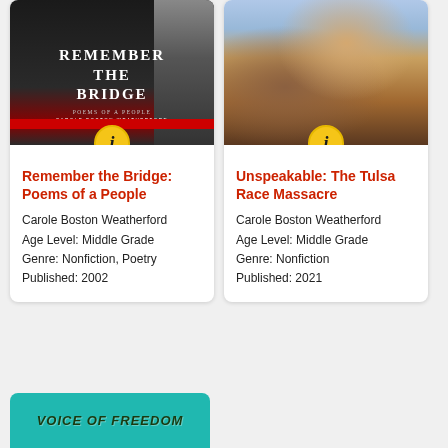[Figure (illustration): Book cover for 'Remember the Bridge: Poems of a People' by Carole Boston Weatherford. Dark cover with bold white uppercase title text and a red bar at the bottom.]
Remember the Bridge: Poems of a People
Carole Boston Weatherford
Age Level: Middle Grade
Genre: Nonfiction, Poetry
Published: 2002
[Figure (illustration): Book cover for 'Unspeakable: The Tulsa Race Massacre' by Carole Boston Weatherford. Illustrated cover showing figures in distress with warm earth tones.]
Unspeakable: The Tulsa Race Massacre
Carole Boston Weatherford
Age Level: Middle Grade
Genre: Nonfiction
Published: 2021
[Figure (illustration): Bottom partial book cover for 'Voice of Freedom' with teal/turquoise background and bold italic uppercase title text.]